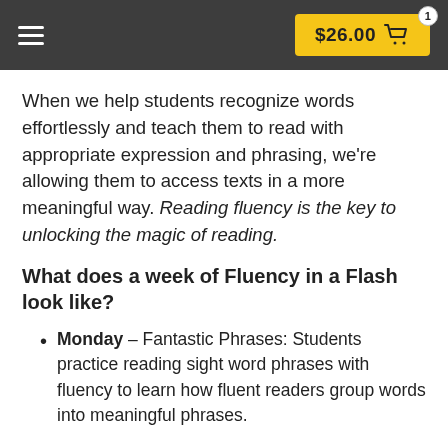$26.00 🛒 1
When we help students recognize words effortlessly and teach them to read with appropriate expression and phrasing, we're allowing them to access texts in a more meaningful way. Reading fluency is the key to unlocking the magic of reading.
What does a week of Fluency in a Flash look like?
Monday – Fantastic Phrases: Students practice reading sight word phrases with fluency to learn how fluent readers group words into meaningful phrases.